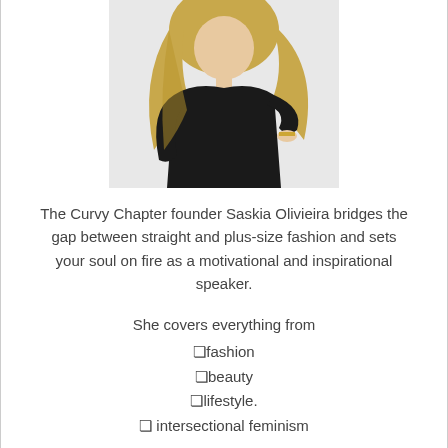[Figure (photo): Photo of a woman with long blonde hair wearing a black outfit, posed against a white background]
The Curvy Chapter founder Saskia Olivieira bridges the gap between straight and plus-size fashion and sets your soul on fire as a motivational and inspirational speaker.
She covers everything from
❑fashion
❑beauty
❑lifestyle.
❑ intersectional feminism
She makes you feel welcome in her safe space and she